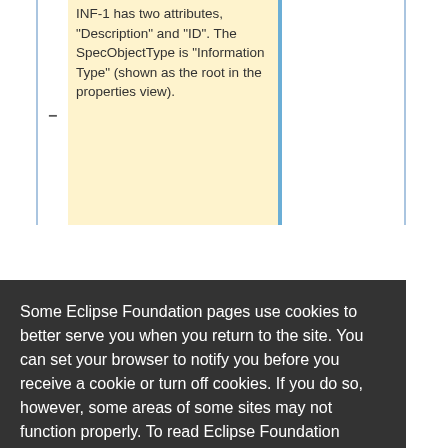INF-1 has two attributes, "Description" and "ID". The SpecObjectType is "Information Type" (shown as the root in the properties view).
Some Eclipse Foundation pages use cookies to better serve you when you return to the site. You can set your browser to notify you before you receive a cookie or turn off cookies. If you do so, however, some areas of some sites may not function properly. To read Eclipse Foundation Privacy Policy click here.
to the SpecObjectType (a